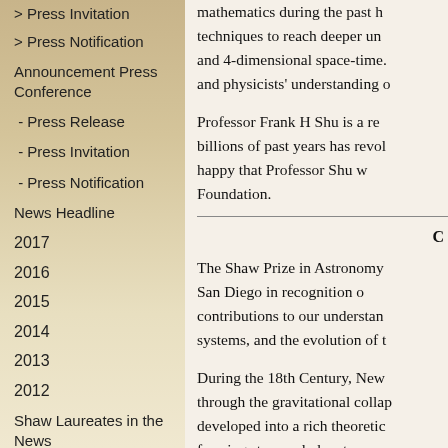> Press Invitation
> Press Notification
Announcement Press Conference
- Press Release
- Press Invitation
- Press Notification
News Headline
2017
2016
2015
2014
2013
2012
Shaw Laureates in the News
Archives
Condolence
News Headline
mathematics during the past … techniques to reach deeper un… and 4-dimensional space-time. and physicists' understanding o…
Professor Frank H Shu is a re… billions of past years has revol… happy that Professor Shu w… Foundation.
The Shaw Prize in Astronomy … San Diego in recognition o… contributions to our understan… systems, and the evolution of t…
During the 18th Century, New… through the gravitational collap… developed into a rich theoretic… forming stars and planetary s…